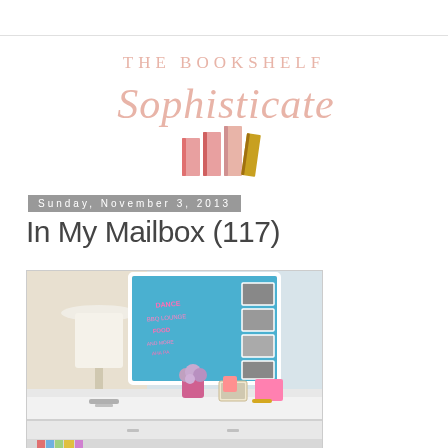[Figure (logo): The Bookshelf Sophisticate blog logo with pink/rose text and colorful book icons]
Sunday, November 3, 2013
In My Mailbox (117)
[Figure (photo): Interior photo of a white desk with a blue bulletin board above it featuring pink text/letters, black and white photos pinned to it, a lamp, flowers in a pink vase, and desk accessories on a white surface]